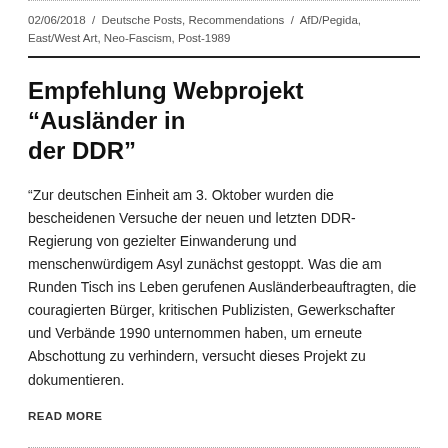02/06/2018 / Deutsche Posts, Recommendations / AfD/Pegida, East/West Art, Neo-Fascism, Post-1989
Empfehlung Webprojekt „Ausländer in der DDR“
„Zur deutschen Einheit am 3. Oktober wurden die bescheidenen Versuche der neuen und letzten DDR-Regierung von gezielter Einwanderung und menschenwürdigem Asyl zunächst gestoppt. Was die am Runden Tisch ins Leben gerufenen Ausländerbeauftragten, die couragierten Bürger, kritischen Publizisten, Gewerkschafter und Verbände 1990 unternommen haben, um erneute Abschottung zu verhindern, versucht dieses Projekt zu dokumentieren.
READ MORE